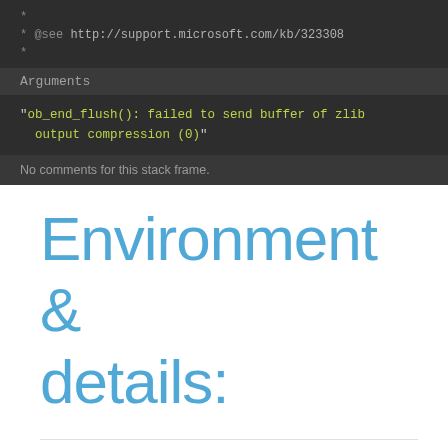* @see http://support.microsoft.com/kb/323308
 *
Arguments
"ob_end_flush(): failed to send buffer of zlib output compression (0)"
No comments for this stack frame.
Environment & details:
GET Data
bgfyaweja6323/    ""
POST Data empty
Files empty
Cookies empty